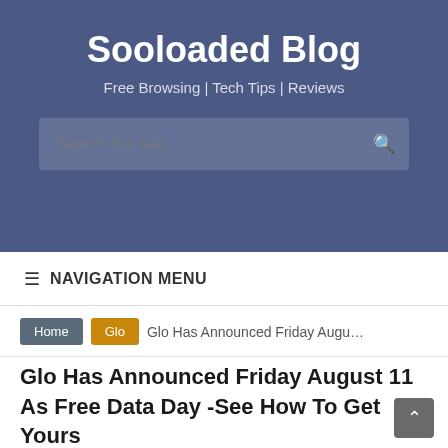Sooloaded Blog
Free Browsing | Tech Tips | Reviews
Search this site...
☰ NAVIGATION MENU
Home  Glo  Glo Has Announced Friday August 11 As Free Data D...
Glo Has Announced Friday August 11 As Free Data Day -See How To Get Yours